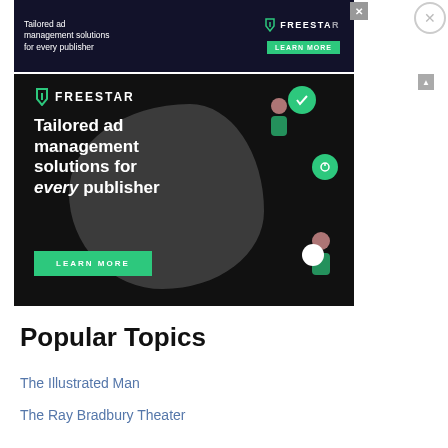[Figure (illustration): Freestar ad banner (top strip): dark background with Freestar logo and 'Tailored ad management solutions for every publisher' text and LEARN MORE button. Also a small X close button.]
[Figure (illustration): Freestar main advertisement: dark background with gray blob shape, illustrated characters, Freestar logo, large white bold text 'Tailored ad management solutions for every publisher', and a green LEARN MORE button. Contains green circular icons and decorative tech graphics.]
Popular Topics
The Illustrated Man
The Ray Bradbury Theater